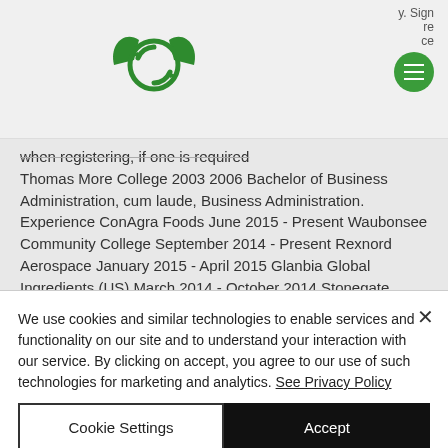[Figure (logo): Green stylized logo with circular arrows and wing-like shapes on a light gray navigation bar]
when registering, if one is required Thomas More College 2003 2006 Bachelor of Business Administration, cum laude, Business Administration. Experience ConAgra Foods June 2015 - Present Waubonsee Community College September 2014 - Present Rexnord Aerospace January 2015 - April 2015 Glanbia Global Ingredients (US) March 2014 - October 2014 Stonegate Conference Centre December 2013
We use cookies and similar technologies to enable services and functionality on our site and to understand your interaction with our service. By clicking on accept, you agree to our use of such technologies for marketing and analytics. See Privacy Policy
Cookie Settings
Accept